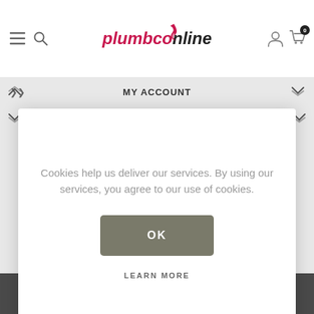[Figure (logo): PlumbCo Online logo with flame icon]
MY ACCOUNT
CUSTOMER SERVICE
Cookies help us deliver our services. By using our services, you agree to our use of cookies.
OK
LEARN MORE
[Figure (other): VISA and Mastercard payment logos]
Powered by Blue Rock Systems Ltd